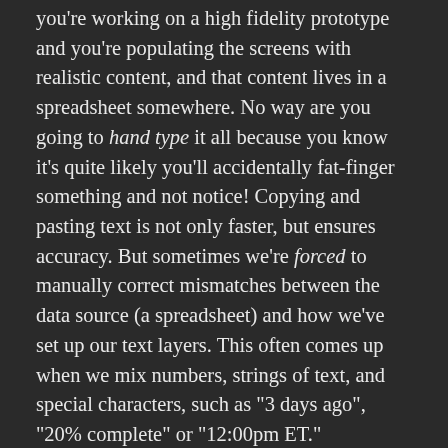you're working on a high fidelity prototype and you're populating the screens with realistic content, and that content lives in a spreadsheet somewhere. No way are you going to hand type it all because you know it's quite likely you'll accidentally fat-finger something and not notice! Copying and pasting text is not only faster, but ensures accuracy. But sometimes we're forced to manually correct mismatches between the data source (a spreadsheet) and how we've set up our text layers. This often comes up when we mix numbers, strings of text, and special characters, such as "3 days ago", "20% complete" or "12:00pm ET."
If you're pasting in a bunch of values from a spreadsheet, or even if you're just punching in random numbers, you might not want to override the special characters, or parts of the string that describe the values. You just need to change the number! Depending on your workflow and what kind of file you're working on, it could be advantageous to separate the "3" from the "days ago" as